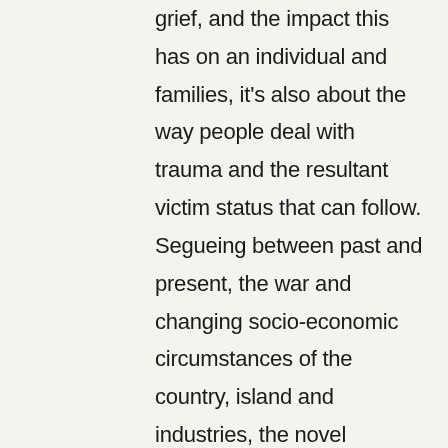grief, and the impact this has on an individual and families, it's also about the way people deal with trauma and the resultant victim status that can follow. Segueing between past and present, the war and changing socio-economic circumstances of the country, island and industries, the novel cleverly situates, but never reduces, personal tragedy within a wider cultural and social picture. While the landscape and weather of Oland is stunningly created,